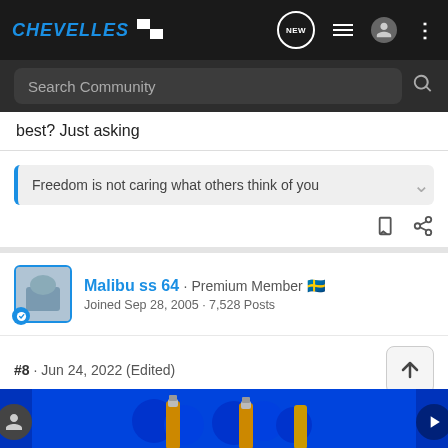CHEVELLES [logo with checkered flags]
best? Just asking
Freedom is not caring what others think of you
Malibu ss 64 · Premium Member 🇸🇪
Joined Sep 28, 2005 · 7,528 Posts
#8 · Jun 24, 2022 (Edited)
I would wait for a set of comp1929 16 since you needed 1.8:1?
Jegs ha...e.